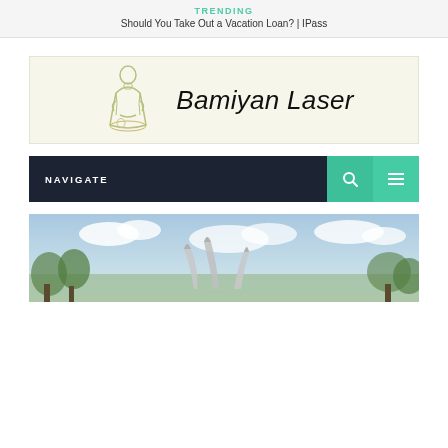TRENDING
Should You Take Out a Vacation Loan? | IPass
[Figure (logo): Bamiyan Laser logo with a seated Buddha figure illustration and italic text 'Bamiyan Laser']
NAVIGATE
[Figure (photo): Outdoor landscape photo with sky, clouds, trees and tall curved sculptural elements]